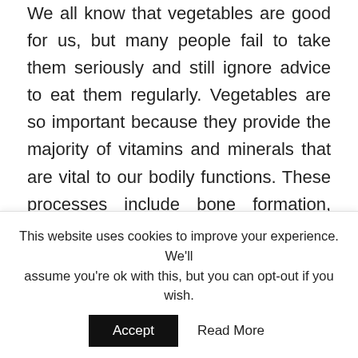We all know that vegetables are good for us, but many people fail to take them seriously and still ignore advice to eat them regularly. Vegetables are so important because they provide the majority of vitamins and minerals that are vital to our bodily functions. These processes include bone formation, blood formation, hormone function, energy release and neuromuscular function. The processes also fight against disease and prevent serious conditions later in life such as diabetes, heart disease and even cancer.

Many of us experience the common issues of modern life such as...
This website uses cookies to improve your experience. We'll assume you're ok with this, but you can opt-out if you wish.